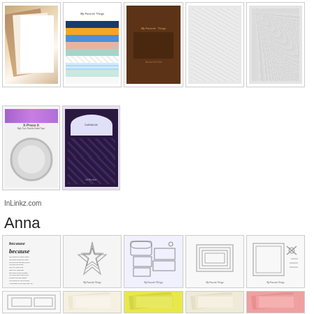[Figure (photo): Grid of product images: kraft paper sheets, patterned paper pad (My Favorite Things), brown ink pad (My Favorite Things), white textured paper, white glitter/texture paper]
[Figure (photo): Two product images: X-Press It tape roll in packaging, Craft Hub Life adhesive product]
InLinkz.com
Anna
[Figure (photo): Grid of Anna's product images: 'because' stamp set, nested star dies (My Favorite Things), mailbox/pocket die set (My Favorite Things), rectangular die set (My Favorite Things), scissors/die set (My Favorite Things)]
[Figure (photo): Bottom row of products: frame die, cream paper sheets, yellow paper sheets, cream/tan paper sheets, pink paper sheets]